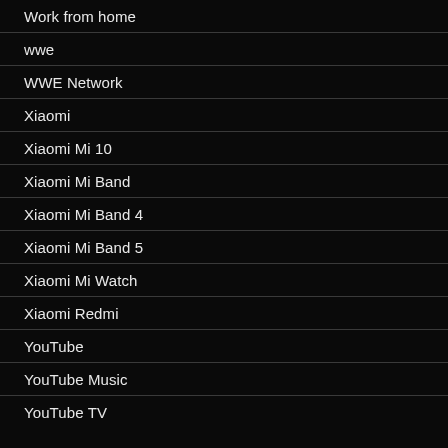Work from home
wwe
WWE Network
Xiaomi
Xiaomi Mi 10
Xiaomi Mi Band
Xiaomi Mi Band 4
Xiaomi Mi Band 5
Xiaomi Mi Watch
Xiaomi Redmi
YouTube
YouTube Music
YouTube TV